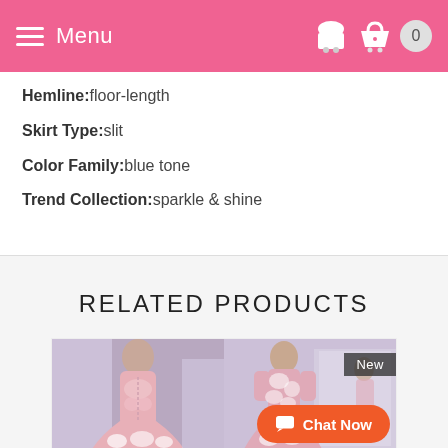Menu
Hemline: floor-length
Skirt Type: slit
Color Family: blue tone
Trend Collection: sparkle & shine
RELATED PRODUCTS
[Figure (photo): Two photos of a pink lace long-sleeve prom dress shown from back and front views. Right photo has a 'New' badge overlay.]